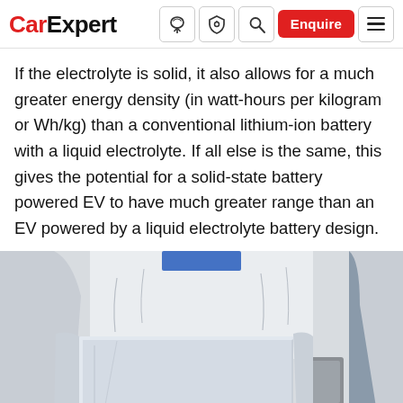CarExpert — navigation header with logo, icons, Enquire button, and menu
If the electrolyte is solid, it also allows for a much greater energy density (in watt-hours per kilogram or Wh/kg) than a conventional lithium-ion battery with a liquid electrolyte. If all else is the same, this gives the potential for a solid-state battery powered EV to have much greater range than an EV powered by a liquid electrolyte battery design.
[Figure (photo): Person in white lab/cleanroom suit holding a large rectangular silver battery cell or pouch cell, photographed from chest down against a grey background.]